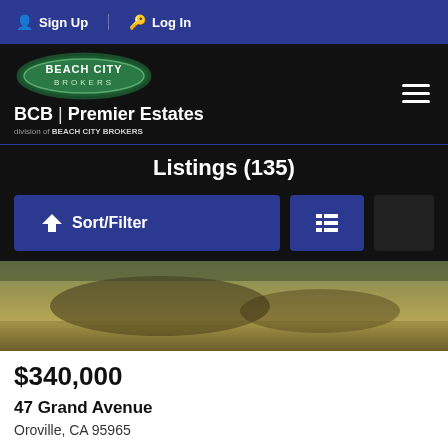Sign Up | Log In
[Figure (logo): Beach City Brokers logo with BCB Premier Estates branding]
Listings (135)
Sort/Filter | list view button
[Figure (photo): Outdoor property photo showing a grassy field with tree shadows]
$340,000
47 Grand Avenue
Oroville, CA 95965
For Sale | 2,342 sqft | 5 beds | 3 baths | 0.64 acres | #OR22141147
Professional Realty Services